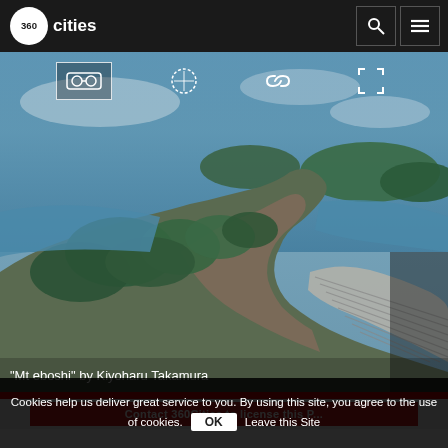360cities
[Figure (photo): Aerial 360 panoramic photograph of 'Mt eboshi' by Kiyoharu Takamura showing a rocky forested mountain peak with traditional Japanese tiled roof structure, surrounded by blue ocean water and green islands in the background.]
"Mt eboshi" by Kiyoharu Takamura
Contact 360Cities to license this P...
Cookies help us deliver great service to you. By using this site, you agree to the use of cookies. OK Leave this Site